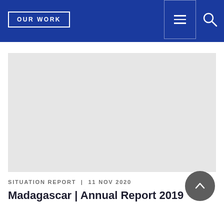OUR WORK
[Figure (screenshot): Large light grey placeholder image area representing a report cover or document thumbnail]
SITUATION REPORT | 11 Nov 2020
Madagascar | Annual Report 2019